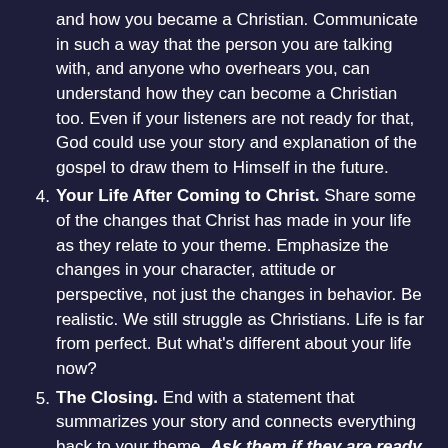How You Came to Christ. Give the details about why and how you became a Christian. Communicate in such a way that the person you are talking with, and anyone who overhears you, can understand how they can become a Christian too. Even if your listeners are not ready for that, God could use your story and explanation of the gospel to draw them to Himself in the future.
Your Life After Coming to Christ. Share some of the changes that Christ has made in your life as they relate to your theme. Emphasize the changes in your character, attitude or perspective, not just the changes in behavior. Be realistic. We still struggle as Christians. Life is far from perfect. But what's different about your life now?
The Closing. End with a statement that summarizes your story and connects everything back to your theme. Ask them if they are ready to receive Jesus as their